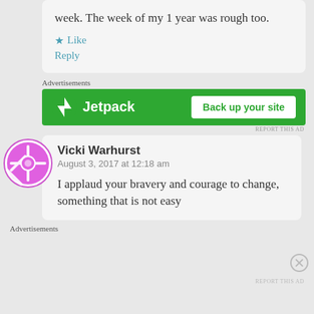week. The week of my 1 year was rough too.
Like
Reply
Advertisements
[Figure (other): Jetpack advertisement banner with green background, Jetpack logo on left and 'Back up your site' button on right]
Vicki Warhurst
August 3, 2017 at 12:18 am
I applaud your bravery and courage to change, something that is not easy
Advertisements